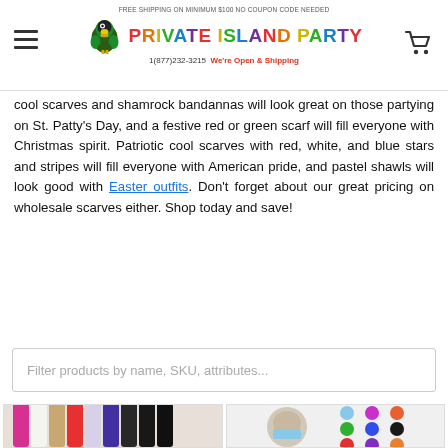Private Island Party - FREE SHIPPING ON MINIMUM $100 NO COUPON CODE NEEDED - 1(877)232-3215 - We're Open & Shipping
cool scarves and shamrock bandannas will look great on those partying on St. Patty's Day, and a festive red or green scarf will fill everyone with Christmas spirit. Patriotic cool scarves with red, white, and blue stars and stripes will fill everyone with American pride, and pastel shawls will look good with Easter outfits. Don't forget about our great pricing on wholesale scarves either. Shop today and save!
Filter products by name, SKU, attributes...
[Figure (photo): Multiple colorful scarves hanging side by side showing various colors including pink, white, beige, red, purple, and black]
[Figure (photo): Woman wearing a light blue scarf around her neck, surrounded by multiple small rolled scarves in various colors including blue, purple, pink, green, red, orange, and black]